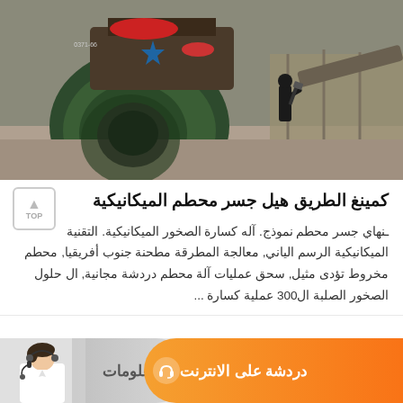[Figure (photo): Industrial jaw crusher machine at a mining/quarry site with a worker in the background]
كمينغ الطريق هيل جسر محطم الميكانيكية
ـنهاي جسر محطم نموذج. آله كسارة الصخور الميكانيكية. التقنية الميكانيكية الرسم الياني, معالجة المطرقة مطحنة جنوب أفريقيا, محطم مخروط تؤدى مثيل, سحق عمليات آلة محطم دردشة مجانية, ال حلول الصخور الصلبة ال300 عملية كسارة ...
دردشة على الانترنت   معلومات